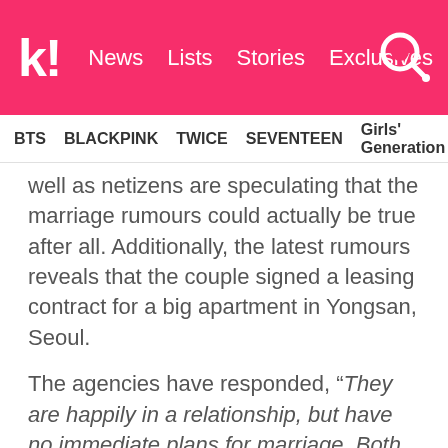kl! News Lists Stories Exclusives
BTS BLACKPINK TWICE SEVENTEEN Girls' Generation
well as netizens are speculating that the marriage rumours could actually be true after all. Additionally, the latest rumours reveals that the couple signed a leasing contract for a big apartment in Yongsan, Seoul.
The agencies have responded, “They are happily in a relationship, but have no immediate plans for marriage. Both of the them have sleepless and tight schedules. Yoon Kye Sang lives near by Yongsan, so that might have caused the false reports. Please look forward to their upcoming activities and promotions.”